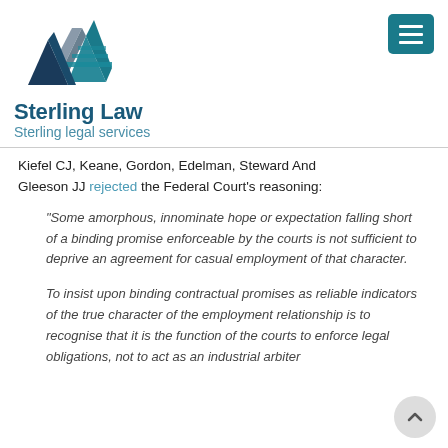[Figure (logo): Sterling Law logo with triangular geometric mark in teal and grey, company name 'Sterling Law' in dark teal bold, tagline 'Sterling legal services' in lighter teal]
[Figure (other): Hamburger menu button — dark teal rectangle with three white horizontal lines]
Kiefel CJ, Keane, Gordon, Edelman, Steward And Gleeson JJ rejected the Federal Court's reasoning:
“Some amorphous, innominate hope or expectation falling short of a binding promise enforceable by the courts is not sufficient to deprive an agreement for casual employment of that character.
To insist upon binding contractual promises as reliable indicators of the true character of the employment relationship is to recognise that it is the function of the courts to enforce legal obligations, not to act as an industrial arbiter